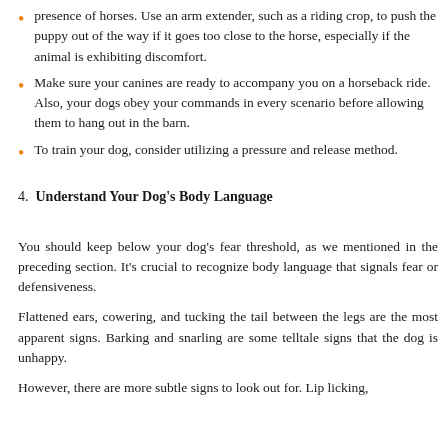presence of horses. Use an arm extender, such as a riding crop, to push the puppy out of the way if it goes too close to the horse, especially if the animal is exhibiting discomfort.
Make sure your canines are ready to accompany you on a horseback ride. Also, your dogs obey your commands in every scenario before allowing them to hang out in the barn.
To train your dog, consider utilizing a pressure and release method.
4. Understand Your Dog's Body Language
You should keep below your dog's fear threshold, as we mentioned in the preceding section. It's crucial to recognize body language that signals fear or defensiveness.
Flattened ears, cowering, and tucking the tail between the legs are the most apparent signs. Barking and snarling are some telltale signs that the dog is unhappy.
However, there are more subtle signs to look out for. Lip licking,